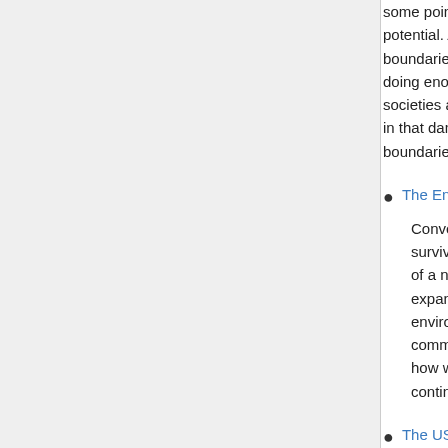some point reach the boundaries to its growth potential. And by flatly denying that these boundaries are even possible at all, we not doing enormous damage to our economies, societies and natural world, we guarantee lock in that damage. A system that has reached boundaries to its growth potential tends t
The End Of Growth - An Interview with R
Conventional economic theory flies in the face of survive in a closed system, which is our of a new book, The End of Growth: Adap expansionary trajectory of industrial civil environmental impacts of unfettered indu communities, and families can do to buil how we can thrive during the transition i continuing to pursue the now-unattainab
The US, Oil and the Middle East Uprising
Media Education Foundation - Michael K guarantee the flow of oil.